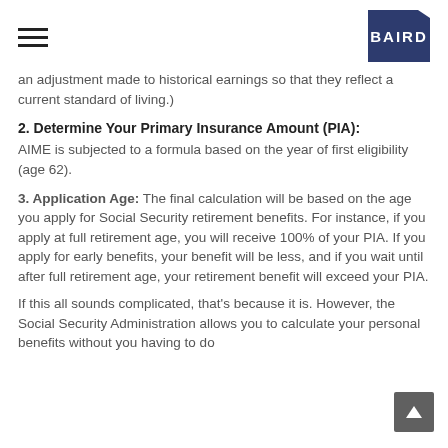BAIRD
an adjustment made to historical earnings so that they reflect a current standard of living.)
2. Determine Your Primary Insurance Amount (PIA):
AIME is subjected to a formula based on the year of first eligibility (age 62).
3. Application Age: The final calculation will be based on the age you apply for Social Security retirement benefits. For instance, if you apply at full retirement age, you will receive 100% of your PIA. If you apply for early benefits, your benefit will be less, and if you wait until after full retirement age, your retirement benefit will exceed your PIA.
If this all sounds complicated, that’s because it is. However, the Social Security Administration allows you to calculate your personal benefits without you having to do